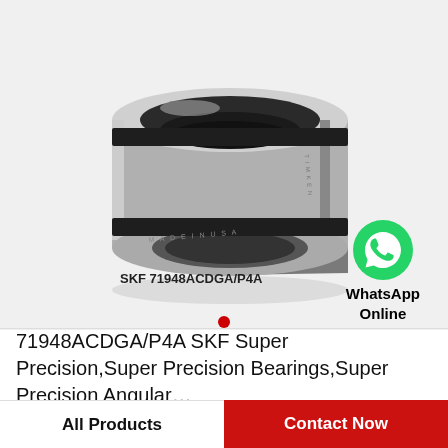[Figure (photo): SKF angular contact ball bearing (tapered roller bearing cup/cone) shown at an angle, metallic silver-gray color, with text 'MADE IN USA' and 'TIMKEN' visible on the bearing surface. Label below reads 'SKF 71948ACDGA/P4A'.]
[Figure (logo): WhatsApp green circular icon with white phone handset, with text 'WhatsApp Online' below it.]
SKF 71948ACDGA/P4A
71948ACDGA/P4A SKF Super Precision,Super Precision Bearings,Super Precision Angular…
All Products
Contact Now